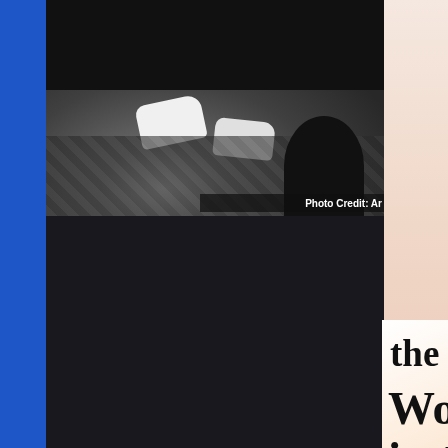[Figure (screenshot): Screenshot of a webpage showing a black and white photo of someone's feet/shoes on a patterned floor, with a photo credit 'Photo Credit: Ar...' visible. Below that is a partial view of a webpage with text 'the front...' and 'WordPress in the back.' on a gradient peach/pink background. A cookie consent banner overlays the bottom portion reading 'Privacy & Cookies: This site uses cookies. By continuing to use this website, you agree to their use. To find out more, including how to control cookies, see here: Cookie Policy' with a 'Close and accept' button.]